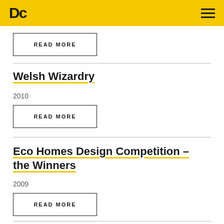Dc [logo] [hamburger menu]
READ MORE
Welsh Wizardry
2010
READ MORE
Eco Homes Design Competition – the Winners
2009
READ MORE